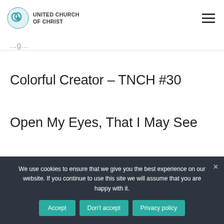UNITED CHURCH OF CHRIST
Colorful Creator – TNCH #30
Open My Eyes, That I May See
We use cookies to ensure that we give you the best experience on our website. If you continue to use this site we will assume that you are happy with it.